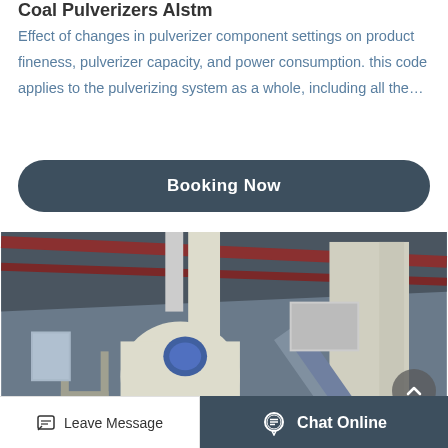Coal Pulverizers Alstm
Effect of changes in pulverizer component settings on product fineness, pulverizer capacity, and power consumption. this code applies to the pulverizing system as a whole, including all the…
Booking Now
[Figure (photo): Industrial coal pulverizer machine inside a warehouse/factory with large hoppers, cylindrical tanks, conveyor belts, and ductwork visible. The structure is made of cream/white painted metal with a high corrugated roof.]
Leave Message   Chat Online